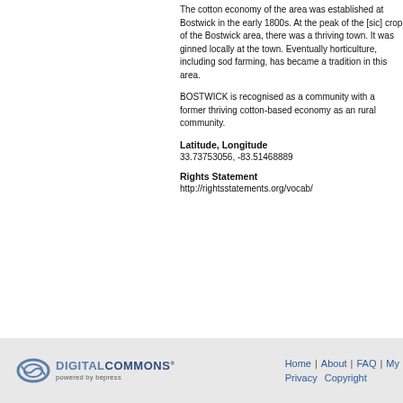The cotton economy of the area was established at Bostwick in the early 1800s. At the peak of the [sic] crop of the Bostwick area, there was a thriving town. It was ginned locally at the town. Eventually horticulture, including sod farming, has became a tradition in this area.
BOSTWICK is recognised as a community with a former thriving cotton-based economy as an rural community.
Latitude, Longitude
33.73753056, -83.51468889
Rights Statement
http://rightsstatements.org/vocab/
DIGITAL COMMONS powered by bepress | Home | About | FAQ | My | Privacy | Copyright